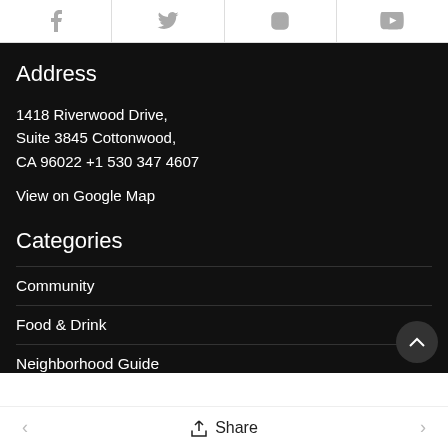[Figure (other): Social media icons row: Facebook, Twitter, Instagram, YouTube]
Address
1418 Riverwood Drive,
Suite 3845 Cottonwood,
CA 96022 +1 530 347 4607
View on Google Map
Categories
Community
Food & Drink
Neighborhood Guide
Share